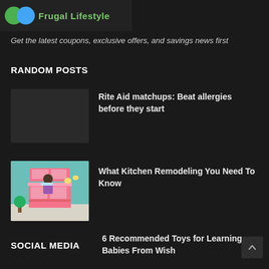[Figure (logo): Frugal Lifestyle logo with green and blue overlapping circles and green text]
Get the latest coupons, exclusive offers, and savings news first
RANDOM POSTS
Rite Aid matchups: Beat allergies before they start
[Figure (illustration): Isometric kitchen remodeling illustration with person at pink kitchen counter]
What Kitchen Remodeling You Need To Know
6 Recommended Toys for Learning Babies From Wish
SOCIAL MEDIA